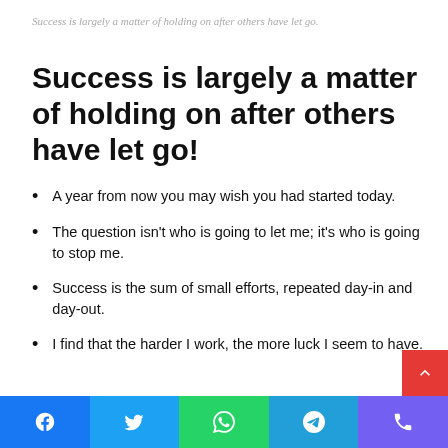Success is largely a matter of holding on after others have let go.
Success is largely a matter of holding on after others have let go!
A year from now you may wish you had started today.
The question isn't who is going to let me; it's who is going to stop me.
Success is the sum of small efforts, repeated day-in and day-out.
I find that the harder I work, the more luck I seem to have.
Social share bar: Facebook, Twitter, WhatsApp, Telegram, Viber